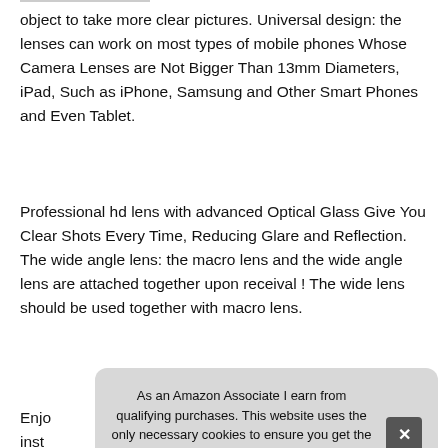object to take more clear pictures. Universal design: the lenses can work on most types of mobile phones Whose Camera Lenses are Not Bigger Than 13mm Diameters, iPad, Such as iPhone, Samsung and Other Smart Phones and Even Tablet.
Professional hd lens with advanced Optical Glass Give You Clear Shots Every Time, Reducing Glare and Reflection. The wide angle lens: the macro lens and the wide angle lens are attached together upon receival ! The wide lens should be used together with macro lens.
More information #ad
Enjo inst The Part
As an Amazon Associate I earn from qualifying purchases. This website uses the only necessary cookies to ensure you get the best experience on our website. More information